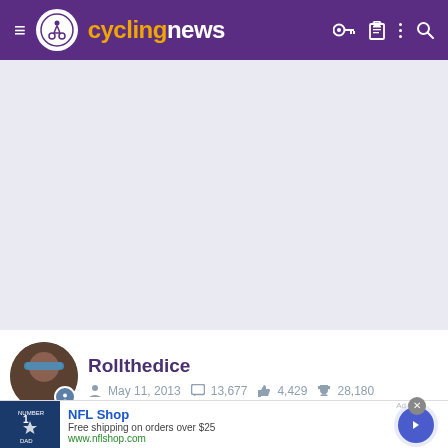cyclingnews
[Figure (screenshot): Large gray empty content area below header]
Rollthedice  May 11, 2013  13,677  4,429  28,180
[Figure (photo): NFL Shop advertisement with jersey image and text: Free shipping on orders over $25, www.nflshop.com]